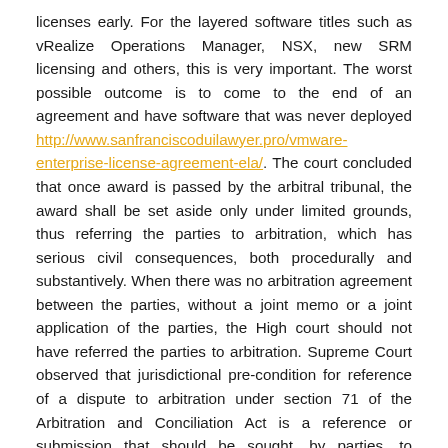licenses early. For the layered software titles such as vRealize Operations Manager, NSX, new SRM licensing and others, this is very important. The worst possible outcome is to come to the end of an agreement and have software that was never deployed http://www.sanfranciscoduilawyer.pro/vmware-enterprise-license-agreement-ela/. The court concluded that once award is passed by the arbitral tribunal, the award shall be set aside only under limited grounds, thus referring the parties to arbitration, which has serious civil consequences, both procedurally and substantively. When there was no arbitration agreement between the parties, without a joint memo or a joint application of the parties, the High court should not have referred the parties to arbitration. Supreme Court observed that jurisdictional pre-condition for reference of a dispute to arbitration under section 71 of the Arbitration and Conciliation Act is a reference or submission that should be sought, by parties, to arbitration (when there is no arbitration agreement). we start with the concept of measure. Article 3.3 of the DSU refers to situations in which a Member considers that any benefits accruing to it directly or indirectly under the covered agreements are being impaired by measures taken by